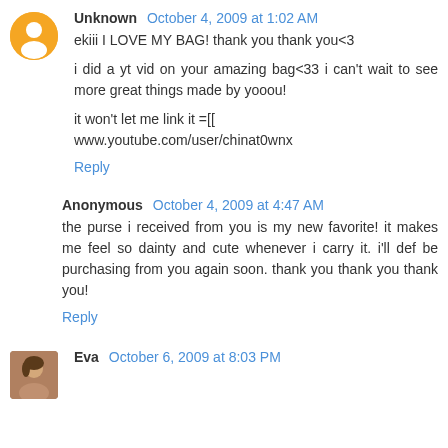[Figure (illustration): Blogger orange circle avatar with white person silhouette icon]
Unknown October 4, 2009 at 1:02 AM
ekiii I LOVE MY BAG! thank you thank you<3

i did a yt vid on your amazing bag<33 i can't wait to see more great things made by yooou!

it won't let me link it =[[
www.youtube.com/user/chinat0wnx
Reply
Anonymous October 4, 2009 at 4:47 AM
the purse i received from you is my new favorite! it makes me feel so dainty and cute whenever i carry it. i'll def be purchasing from you again soon. thank you thank you thank you!
Reply
[Figure (photo): Small photo avatar of Eva]
Eva October 6, 2009 at 8:03 PM